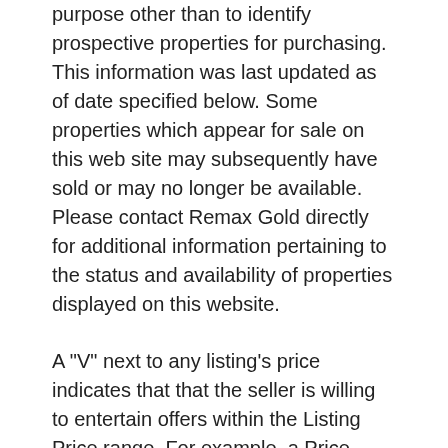purpose other than to identify prospective properties for purchasing. This information was last updated as of date specified below. Some properties which appear for sale on this web site may subsequently have sold or may no longer be available. Please contact Remax Gold directly for additional information pertaining to the status and availability of properties displayed on this website.
A "V" next to any listing's price indicates that that the seller is willing to entertain offers within the Listing Price range. For example, a Price Range of $140,000-170,000 indicates the seller will entertain offers from $140,000 to $170,000. An "M" or an "S" next to any listing's price indicates that the terms of the listing agreement state that the Broker will not be providing any of a number of customary services. the offer of compensation is made only to